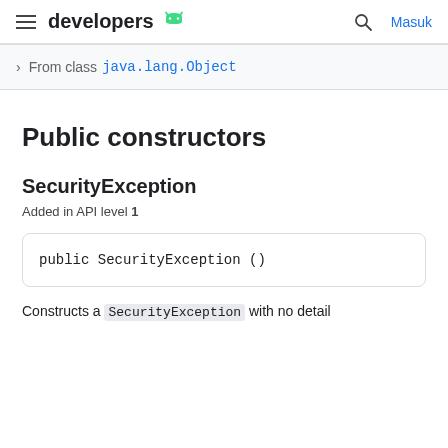developers [Android icon] | Search | Masuk
From class java.lang.Object
Public constructors
SecurityException
Added in API level 1
public SecurityException ()
Constructs a SecurityException with no detail